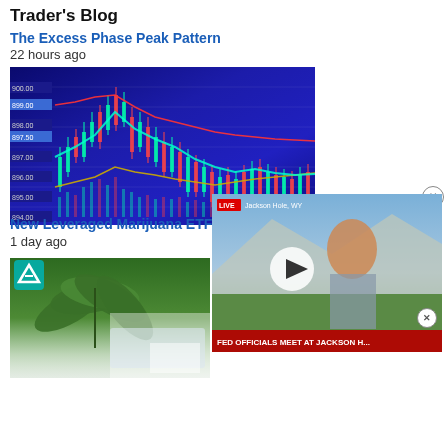Trader's Blog
The Excess Phase Peak Pattern
22 hours ago
[Figure (screenshot): Stock market candlestick chart with blue background showing price levels around 894-900]
[Figure (screenshot): Live video overlay from Jackson Hole, WY showing woman being interviewed outdoors with caption FED OFFICIALS MEET AT JACKSON H...]
New Leveraged Marijuana ETF
1 day ago
[Figure (photo): Cannabis leaf and financial/technology imagery, partially visible, faded at bottom]